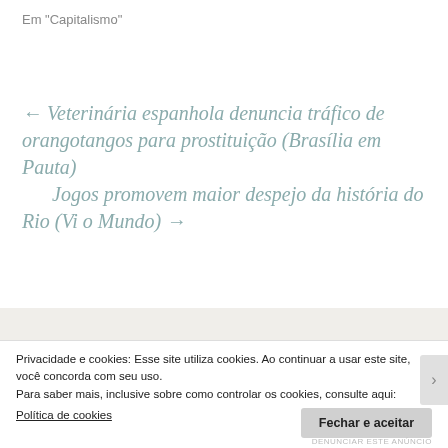Em "Capitalismo"
← Veterinária espanhola denuncia tráfico de orangotangos para prostituição (Brasília em Pauta)
Jogos promovem maior despejo da história do Rio (Vi o Mundo) →
Twitter
Privacidade e cookies: Esse site utiliza cookies. Ao continuar a usar este site, você concorda com seu uso.
Para saber mais, inclusive sobre como controlar os cookies, consulte aqui:
Política de cookies
Fechar e aceitar